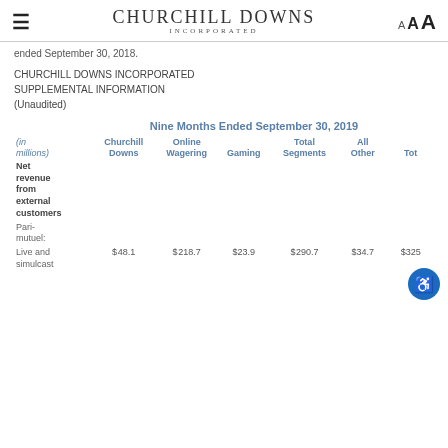Churchill Downs Incorporated
ended September 30, 2018.
CHURCHILL DOWNS INCORPORATED
SUPPLEMENTAL INFORMATION
(Unaudited)
| (in millions) | Churchill Downs | Online Wagering | Gaming | Total Segments | All Other | Total |
| --- | --- | --- | --- | --- | --- | --- |
| Net revenue from external customers |  |  |  |  |  |  |
| Pari-mutuel: |  |  |  |  |  |  |
| Live and simulcast | $48.1 | $218.7 | $23.9 | $290.7 | $34.7 | $325 |